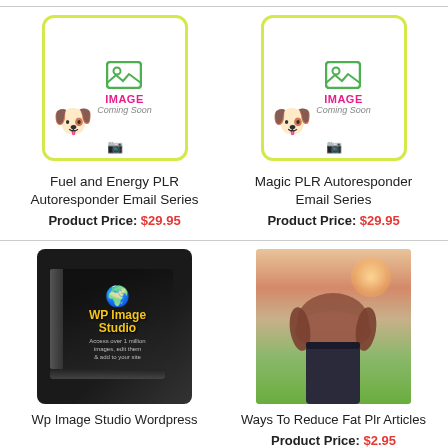[Figure (illustration): Product placeholder image for Fuel and Energy PLR Autoresponder Email Series with yellow-green border, dog with cowboy hat, image coming soon text]
Fuel and Energy PLR Autoresponder Email Series
Product Price: $29.95
[Figure (illustration): Product placeholder image for Magic PLR Autoresponder Email Series with yellow-green border, dog with cowboy hat, image coming soon text]
Magic PLR Autoresponder Email Series
Product Price: $29.95
[Figure (photo): Software box image for WP Image Studio Wordpress plugin - black box with yellow title text and globe graphic]
Wp Image Studio Wordpress
[Figure (photo): Photo of a person showing midsection/belly fat outdoors with green background]
Ways To Reduce Fat Plr Articles
Product Price: $2.95